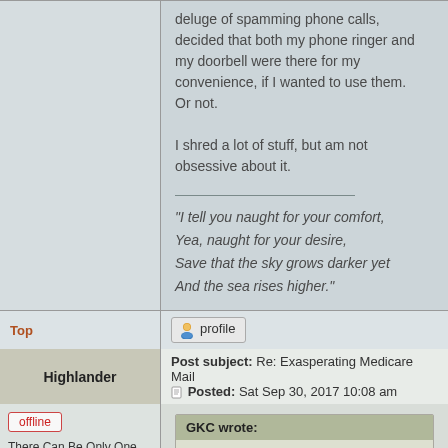deluge of spamming phone calls, decided that both my phone ringer and my doorbell were there for my convenience, if I wanted to use them. Or not.

I shred a lot of stuff, but am not obsessive about it.

"I tell you naught for your comfort,
Yea, naught for your desire,
Save that the sky grows darker yet
And the sea rises higher."
Top
[Figure (other): Profile button with user icon]
Highlander
Post subject: Re: Exasperating Medicare Mail
Posted: Sat Sep 30, 2017 10:08 am
offline
There Can Be Only One
[Figure (illustration): Circular Celtic knot avatar in brown/gold tones]
GKC wrote:
...I'm always losing book marks. ...